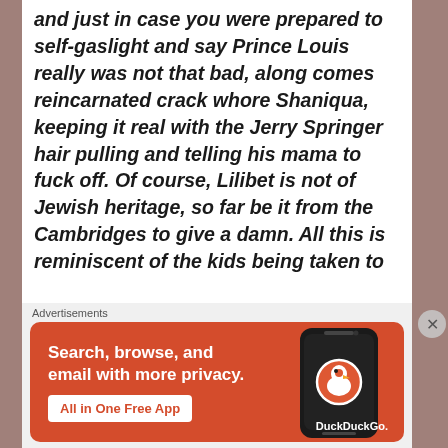and just in case you were prepared to self-gaslight and say Prince Louis really was not that bad, along comes reincarnated crack whore Shaniqua, keeping it real with the Jerry Springer hair pulling and telling his mama to fuck off. Of course, Lilibet is not of Jewish heritage, so far be it from the Cambridges to give a damn. All this is reminiscent of the kids being taken to
Advertisements
[Figure (screenshot): DuckDuckGo advertisement banner: orange background with white text 'Search, browse, and email with more privacy.' and a white button 'All in One Free App', plus a phone image and DuckDuckGo logo/duck icon on the right side.]